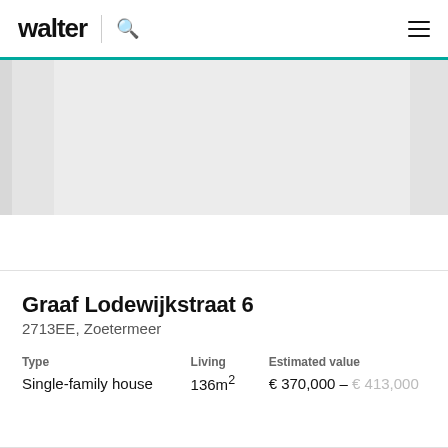walter
[Figure (photo): Property image carousel showing a light grey placeholder image with side panels]
Graaf Lodewijkstraat 6
2713EE, Zoetermeer
| Type | Living | Estimated value |
| --- | --- | --- |
| Single-family house | 136m² | € 370,000 – € 413,000 |